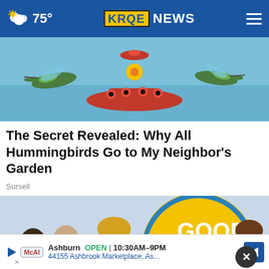75° KRQE NEWS
[Figure (photo): Hummingbirds at a red bird feeder with blue water background]
The Secret Revealed: Why All Hummingbirds Go to My Neighbor's Garden
Sursell
[Figure (photo): Good Morning America show set with female hosts, GMA logo visible on circular backdrop]
Ashburn OPEN | 10:30AM–9PM
44155 Ashbrook Marketplace, As...